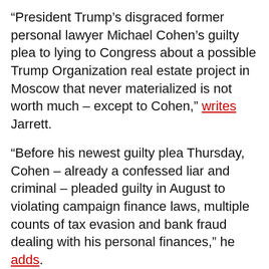“President Trump’s disgraced former personal lawyer Michael Cohen’s guilty plea to lying to Congress about a possible Trump Organization real estate project in Moscow that never materialized is not worth much – except to Cohen,” writes Jarrett.
“Before his newest guilty plea Thursday, Cohen – already a confessed liar and criminal – pleaded guilty in August to violating campaign finance laws, multiple counts of tax evasion and bank fraud dealing with his personal finances,” he adds.
“The double standard should be obvious to all. If you’re a government official without ties to Donald Trump, you can lie, make mistakes or fail to remember things correctly and face no legal consequences. But if you’re a private citizen – especially if you’re connected to